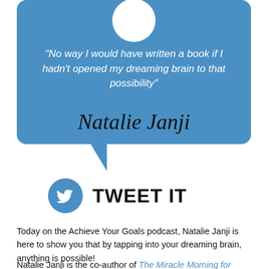[Figure (illustration): Blue speech bubble with white profile circle at top, containing an italic white quote and cursive black signature. Below the bubble is a Twitter bird icon circle and 'TWEET IT' text.]
"No way I would have written a book if I hadn't opened my dreaming brain to that possibility"
Natalie Janji
TWEET IT
Today on the Achieve Your Goals podcast, Natalie Janji is here to show you that by tapping into your dreaming brain, anything is possible!
Natalie Janji is the co-author of The Miracle Morning for College Students which recently